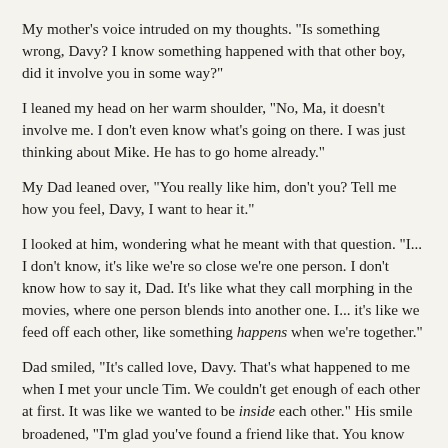My mother's voice intruded on my thoughts. "Is something wrong, Davy? I know something happened with that other boy, did it involve you in some way?"
I leaned my head on her warm shoulder, "No, Ma, it doesn't involve me. I don't even know what's going on there. I was just thinking about Mike. He has to go home already."
My Dad leaned over, "You really like him, don't you? Tell me how you feel, Davy, I want to hear it."
I looked at him, wondering what he meant with that question. "I... I don't know, it's like we're so close we're one person. I don't know how to say it, Dad. It's like what they call morphing in the movies, where one person blends into another one. I... it's like we feed off each other, like something happens when we're together."
Dad smiled, "It's called love, Davy. That's what happened to me when I met your uncle Tim. We couldn't get enough of each other at first. It was like we wanted to be inside each other." His smile broadened, "I'm glad you've found a friend like that. You know how special Tim is to me, and now you have Mike. You'll always have someone to go to, and he'll come to you, too." He glanced at my mother, then smirked at me, "Don't fuck it up."